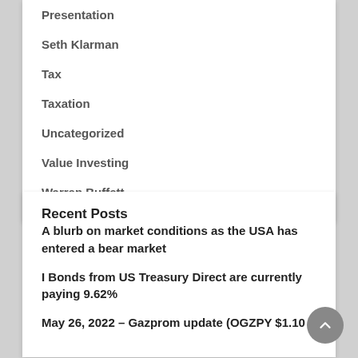Presentation
Seth Klarman
Tax
Taxation
Uncategorized
Value Investing
Warren Buffett
Recent Posts
A blurb on market conditions as the USA has entered a bear market
I Bonds from US Treasury Direct are currently paying 9.62%
May 26, 2022 – Gazprom update (OGZPY $1.10